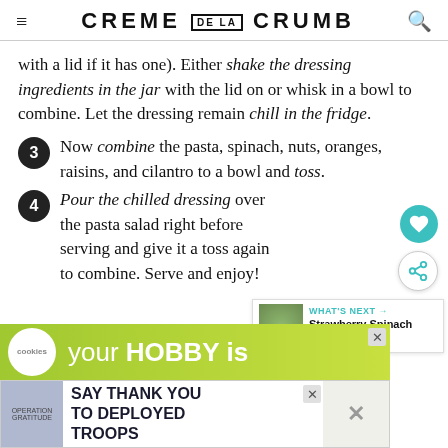CREME DE LA CRUMB
with a lid if it has one). Either shake the dressing ingredients in the jar with the lid on or whisk in a bowl to combine. Let the dressing remain chill in the fridge.
3 Now combine the pasta, spinach, nuts, oranges, raisins, and cilantro to a bowl and toss.
4 Pour the chilled dressing over the pasta salad right before serving and give it a toss again to combine. Serve and enjoy!
[Figure (other): What's Next card showing Strawberry Spinach Pas...]
[Figure (other): Advertisement banner: your HOBBY is cookies]
[Figure (other): Advertisement banner: Operation Gratitude - SAY THANK YOU TO DEPLOYED TROOPS]